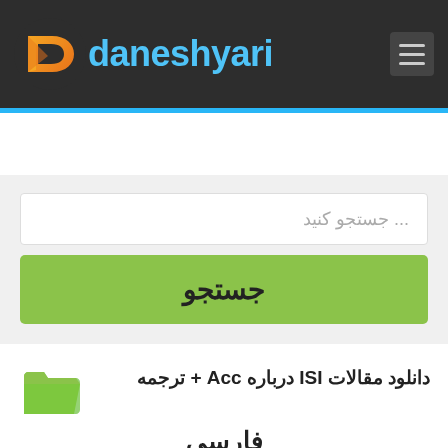[Figure (logo): Daneshyari logo with orange/yellow 'd' icon and teal 'daneshyari' text on dark background header, with hamburger menu icon on right]
جستجو کنید ...
جستجو
دانلود مقالات ISI درباره Acc + ترجمه فارسی